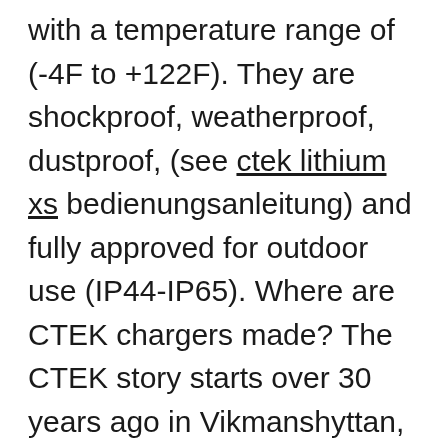with a temperature range of (-4F to +122F). They are shockproof, weatherproof, dustproof, (see ctek lithium xs bedienungsanleitung) and fully approved for outdoor use (IP44-IP65). Where are CTEK chargers made? The CTEK story starts over 30 years ago in Vikmanshyttan, a small village in Dalarna in Sweden. This is where the CTEK founder...